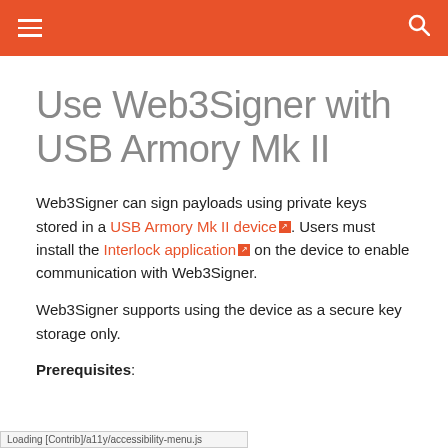≡  🔍
Use Web3Signer with USB Armory Mk II
Web3Signer can sign payloads using private keys stored in a USB Armory Mk II device. Users must install the Interlock application on the device to enable communication with Web3Signer.
Web3Signer supports using the device as a secure key storage only.
Prerequisites:
Loading [Contrib]/a11y/accessibility-menu.js